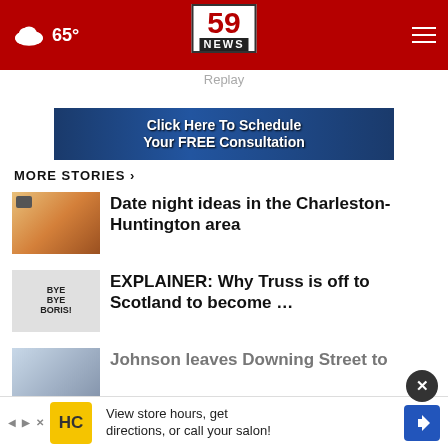65° | 59 NEWS
Replay
[Figure (infographic): Advertisement banner: Click Here To Schedule Your FREE Consultation]
MORE STORIES ›
Date night ideas in the Charleston-Huntington area
EXPLAINER: Why Truss is off to Scotland to become …
Johnson leaves Downing Street to
[Figure (infographic): Bottom advertisement: HC logo - View store hours, get directions, or call your salon!]